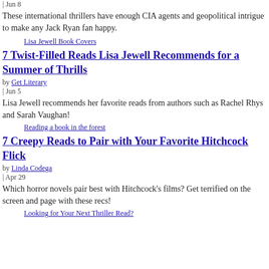| Jun 8
These international thrillers have enough CIA agents and geopolitical intrigue to make any Jack Ryan fan happy.
[Figure (photo): Lisa Jewell Book Covers image placeholder]
7 Twist-Filled Reads Lisa Jewell Recommends for a Summer of Thrills
by Get Literary | Jun 5
Lisa Jewell recommends her favorite reads from authors such as Rachel Rhys and Sarah Vaughan!
[Figure (photo): Reading a book in the forest image placeholder]
7 Creepy Reads to Pair with Your Favorite Hitchcock Flick
by Linda Codega | Apr 29
Which horror novels pair best with Hitchcock's films? Get terrified on the screen and page with these recs!
[Figure (photo): Looking for Your Next Thriller Read? image placeholder]